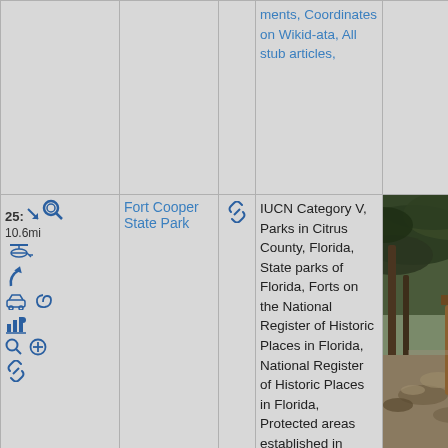| Controls | Name | Link | Categories | Photo |
| --- | --- | --- | --- | --- |
|  |  |  | ments, Coordinates on Wikid-ata, All stub articles, |  |
| 25: 10.6mi [icons] | Fort Cooper State Park | [link icon] | IUCN Category V, Parks in Citrus County, Florida, State parks of Florida, Forts on the National Register of Historic Places in Florida, National Register of Historic Places in Florida, Protected areas established in 1972, Florida Native | [photo] |
[Figure (photo): Outdoor scene at Fort Cooper State Park showing a shaded path under large oak trees with an informational kiosk/bulletin board on the right side]